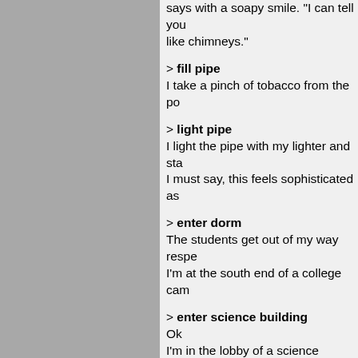says with a soapy smile. "I can tell you like chimneys."
> fill pipe
I take a pinch of tobacco from the po
> light pipe
I light the pipe with my lighter and sta
I must say, this feels sophisticated as
> enter dorm
The students get out of my way respe
I'm at the south end of a college cam
> enter science building
Ok
I'm in the lobby of a science building.
> look at faculty photos
A row of tweedy old white men with s
wall. One of them, pretty much indist
Macdonald, Professor Emeritus of Fo
Cherry-smelling tobacco smoke rises
> open mailbox
It's locked.
Cherry-smelling tobacco smoke rises
> open mailbox